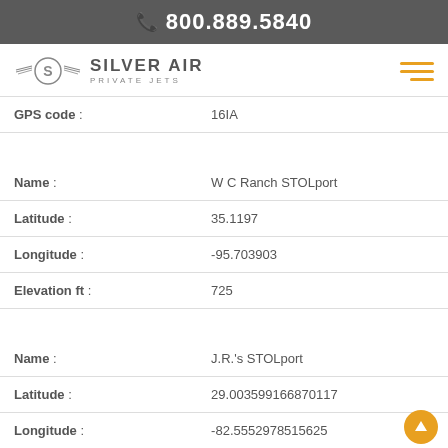800.889.5840
[Figure (logo): Silver Air Private Jets logo with wings and circle S emblem]
| GPS code : | 16IA |
| Name : | W C Ranch STOLport |
| Latitude : | 35.1197 |
| Longitude : | -95.703903 |
| Elevation ft : | 725 |
| Name : | J.R.'s STOLport |
| Latitude : | 29.003599166870117 |
| Longitude : | -82.5552978515625 |